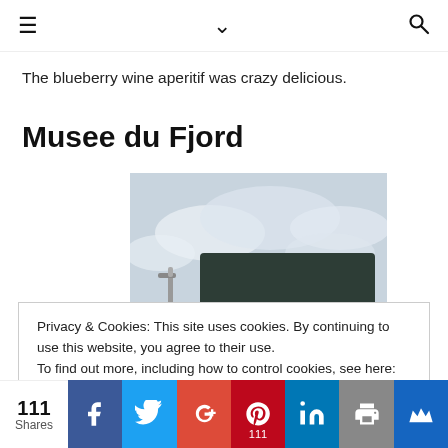≡  ∨  🔍
The blueberry wine aperitif was crazy delicious.
Musee du Fjord
[Figure (photo): Outdoor sign of musée du Fjord with a dark green sign visible against a cloudy sky, with a street lamp in the background.]
Privacy & Cookies: This site uses cookies. By continuing to use this website, you agree to their use.
To find out more, including how to control cookies, see here: Cookie Policy
Close and accept
111 Shares — social share buttons: Facebook, Twitter, Google+, Pinterest (111), LinkedIn, Print, Bloglovin